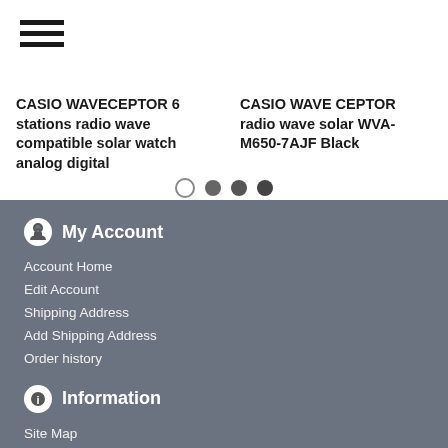[Figure (other): Hamburger menu icon (three horizontal lines)]
CASIO WAVECEPTOR 6 stations radio wave compatible solar watch analog digital
CASIO WAVE CEPTOR radio wave solar WVA-M650-7AJF Black
[Figure (other): Carousel pagination dots: one empty circle, three filled circles]
My Account
Account Home
Edit Account
Shipping Address
Add Shipping Address
Order history
Information
Site Map
Newsletter
About us
Shopping Guide
FAQ